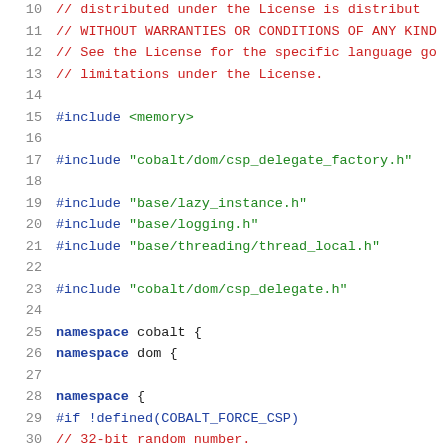// distributed under the License is distributed...
// WITHOUT WARRANTIES OR CONDITIONS OF ANY KIND...
// See the License for the specific language go...
// limitations under the License.
#include <memory>
#include "cobalt/dom/csp_delegate_factory.h"
#include "base/lazy_instance.h"
#include "base/logging.h"
#include "base/threading/thread_local.h"
#include "cobalt/dom/csp_delegate.h"
namespace cobalt {
namespace dom {
namespace {
#if !defined(COBALT_FORCE_CSP)
// 32-bit random number.
// Not exactly cryptographically secure, but ho...